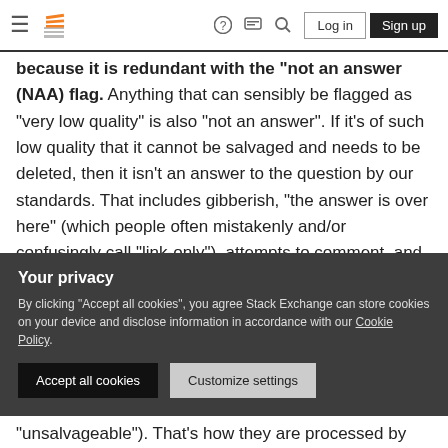Stack Exchange navigation bar with hamburger menu, logo, help, chat, search, Log in, Sign up buttons
because it is redundant with the "not an answer (NAA) flag." Anything that can sensibly be flagged as "very low quality" is also "not an answer". If it's of such low quality that it cannot be salvaged and needs to be deleted, then it isn't an answer to the question by our standards. That includes gibberish, "the answer is over here" (which people often mistakenly and/or confusingly call "link-only"), attempts to comment, and attempts to ask questions. The only thing that might be included in VLQ but excluded from NAA are hopelessly wrong answers, but the official guidance already explicitly
Your privacy
By clicking "Accept all cookies", you agree Stack Exchange can store cookies on your device and disclose information in accordance with our Cookie Policy.
Accept all cookies   Customize settings
"unsalvageable"). That's how they are processed by